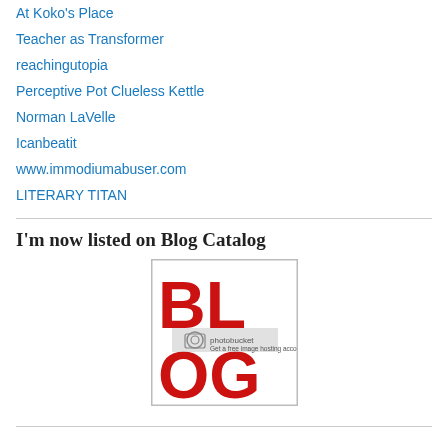At Koko's Place
Teacher as Transformer
reachingutopia
Perceptive Pot Clueless Kettle
Norman LaVelle
Icanbeatit
www.immodiumabuser.com
LITERARY TITAN
I'm now listed on Blog Catalog
[Figure (logo): Blog Catalog logo showing 'BLOG' in large red letters on white background with a photobucket watermark]